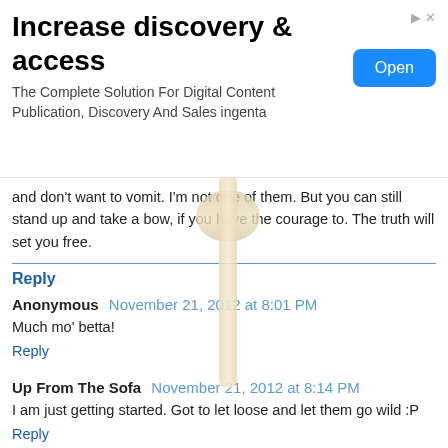[Figure (screenshot): Advertisement banner: 'Increase discovery & access' with subtitle 'The Complete Solution For Digital Content Publication, Discovery And Sales ingenta' and an Open button]
and don't want to vomit. I'm not one of them. But you can still stand up and take a bow, if you have the courage to. The truth will set you free.
Reply
Anonymous  November 21, 2012 at 8:01 PM
Much mo' betta!
Reply
Up From The Sofa  November 21, 2012 at 8:14 PM
I am just getting started. Got to let loose and let them go wild :P
Reply